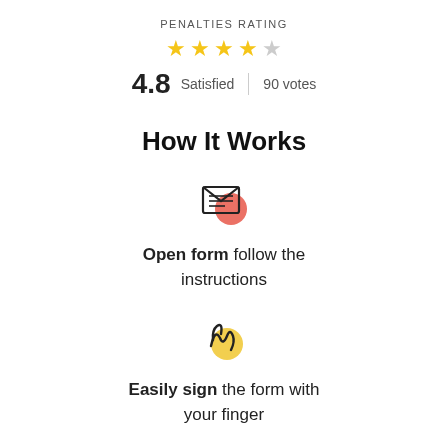PENALTIES RATING
[Figure (infographic): 4 filled gold stars and 1 empty star rating]
4.8 Satisfied | 90 votes
How It Works
[Figure (illustration): Open envelope icon with red circle accent]
Open form follow the instructions
[Figure (illustration): Signature/signing icon with yellow circle accent]
Easily sign the form with your finger